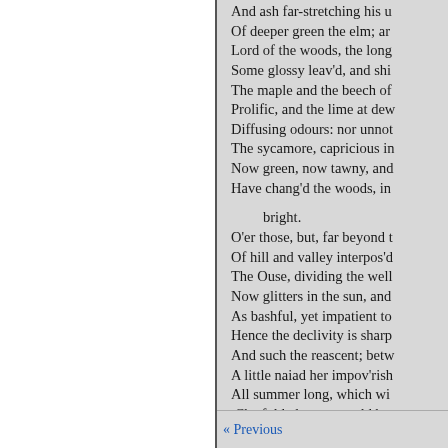And ash far-stretching his u
Of deeper green the elm; an
Lord of the woods, the long
Some glossy leav'd, and shi
The maple and the beech of
Prolific, and the lime at dew
Diffusing odours: nor unnot
The sycamore, capricious in
Now green, now tawny, and
Have chang'd the woods, in

    bright.
O'er those, but, far beyond t
Of hill and valley interpos'd
The Ouse, dividing the well
Now glitters in the sun, and
As bashful, yet impatient to
Hence the declivity is sharp
And such the reascent; betw
A little naiad her impov'rish
All summer long, which wi
 Che folded gates would ba
« Previous